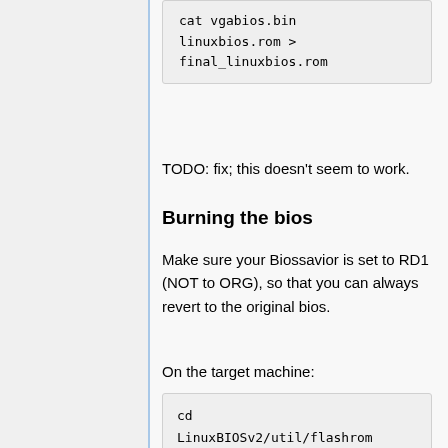cat vgabios.bin linuxbios.rom > final_linuxbios.rom
TODO: fix; this doesn't seem to work.
Burning the bios
Make sure your Biossavior is set to RD1 (NOT to ORG), so that you can always revert to the original bios.
On the target machine:
cd LinuxBIOSv2/util/flashrom
    ./flashrom -v -w path/to/your/linuxbios.rom
Booting LinuxBIOS
You now need to 'halt' the machine. A